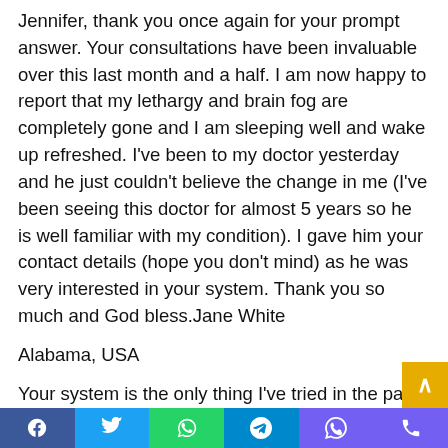Jennifer, thank you once again for your prompt answer. Your consultations have been invaluable over this last month and a half. I am now happy to report that my lethargy and brain fog are completely gone and I am sleeping well and wake up refreshed. I've been to my doctor yesterday and he just couldn't believe the change in me (I've been seeing this doctor for almost 5 years so he is well familiar with my condition). I gave him your contact details (hope you don't mind) as he was very interested in your system. Thank you so much and God bless.Jane White
Alabama, USA
Your system is the only thing I've tried in the past 6 years that has actually made a difference in my symptoms! I bought it recently and already I am sleeping better, being